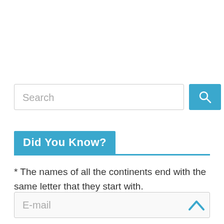[Figure (screenshot): Search input field with placeholder text 'Search' and a blue search button with magnifying glass icon]
Did You Know?
* The names of all the continents end with the same letter that they start with.
[Figure (screenshot): E-mail input field with a blue upward chevron arrow on the right side]